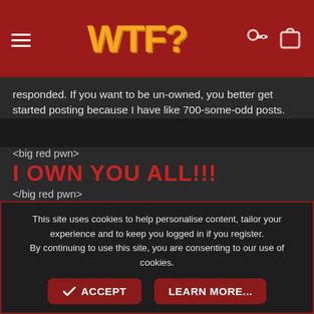WTF?
responded. If you want to be un-owned, you better get started posting because I have like 700-some-odd posts.
<big red pwn>
I OWN YOU ALL!!!
</big red pwn>
bigck3000
The Iron Lung
This site uses cookies to help personalise content, tailor your experience and to keep you logged in if you register.
By continuing to use this site, you are consenting to our use of cookies.